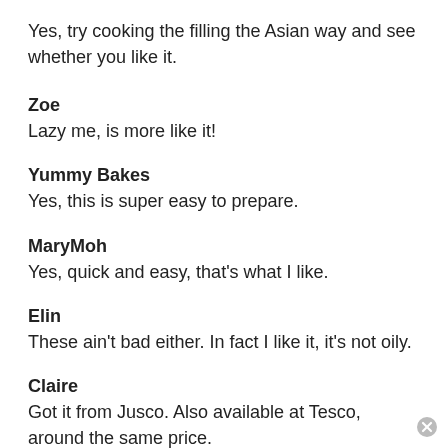Yes, try cooking the filling the Asian way and see whether you like it.
Zoe
Lazy me, is more like it!
Yummy Bakes
Yes, this is super easy to prepare.
MaryMoh
Yes, quick and easy, that's what I like.
Elin
These ain't bad either. In fact I like it, it's not oily.
Claire
Got it from Jusco. Also available at Tesco, around the same price.
Lena